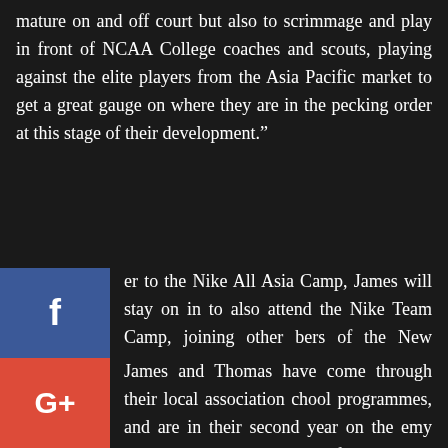mature on and off court but also to scrimmage and play in front of NCAA College coaches and scouts, playing against the elite players from the Asia Pacific market to get a great gauge on where they are in the pecking order at this stage of their development.”
er to the Nike All Asia Camp, James will stay on in to also attend the Nike Team Camp, joining other bers of the New Zealand U18 team in that opportunity.
James and Thomas have come through their local association chool programmes, and are in their second year on the emy roster. Both have eyes on following an increasing ber of young New Zealanders into the American ge system.
objective at the Breakers Academy is to provide players with the necessary tools to learn on and off court, to re and develop as young men and basketballers to e them to take the next steps into either the